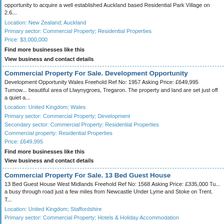opportunity to acquire a well established Auckland based Residential Park Village on 2.6...
Location: New Zealand; Auckland
Primary sector: Commercial Property; Residential Properties
Price: $3,000,000
Find more businesses like this
View business and contact details
Commercial Property For Sale. Development Opportunity
Development Opportunity Wales Freehold Ref No: 1957 Asking Price: £649,995 Turnov... beautiful area of Llwynygroes, Tregaron. The property and land are set just off a quiet a...
Location: United Kingdom; Wales
Primary sector: Commercial Property; Development
Secondary sector: Commercial Property; Residential Properties
Commercial property: Residential Properties
Price: £649,995
Find more businesses like this
View business and contact details
Commercial Property For Sale. 13 Bed Guest House
13 Bed Guest House West Midlands Freehold Ref No: 1568 Asking Price: £335,000 Tu... a busy through road just a few miles from Newcastle Under Lyme and Stoke on Trent. T...
Location: United Kingdom; Staffordshire
Primary sector: Commercial Property; Hotels & Holiday Accommodation
Secondary sector: Commercial Property; Residential Properties
Commercial property: Residential Properties
Price: £335,000
Find more businesses like this
View business and contact details
Business For Sale. Guest House - Scarborough
Guest House - Scarborough Yorkshire Freehold Ref No: 1615 Asking Price: GBP460,00... Scarborough W/T GBP2,000 approx Two interconnecting properties. Owners accommo...
Location: United Kingdom; North Yorkshire
Primary sector: Hotels & Holiday Accommodation; Bed & Breakfast, Guest Houses
Secondary sector: Hotels & Holiday Accommodation; Holiday Accommodation